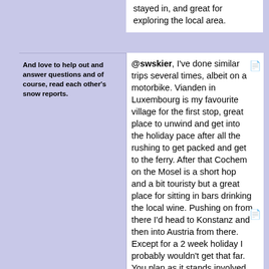stayed in, and great for exploring the local area.
And love to help out and answer questions and of course, read each other's snow reports.
@swskier, I've done similar trips several times, albeit on a motorbike. Vianden in Luxembourg is my favourite village for the first stop, great place to unwind and get into the holiday pace after all the rushing to get packed and get to the ferry. After that Cochem on the Mosel is a short hop and a bit touristy but a great place for sitting in bars drinking the local wine. Pushing on from there I'd head to Konstanz and then into Austria from there. Except for a 2 week holiday I probably wouldn't get that far. You plan as it stands involved lots of long driving days and there's lots of lovely lakes and good walking in the Mosel, the Black Forest and Alsace. Just writing this post has given me a strong desire to get back to